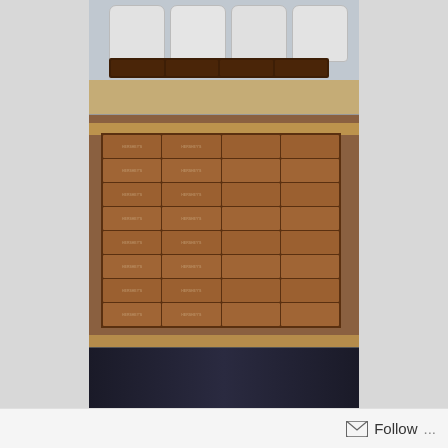[Figure (photo): Three-panel food photo collage showing s'mores ingredients: top panel shows white marshmallows sitting on a Hershey's chocolate bar on a foil-lined tray; middle panel shows multiple Hershey's chocolate bars arranged in a grid pattern on a graham cracker base in a baking pan lined with foil/parchment; bottom panel shows a dark image partially visible at the bottom.]
Follow ...